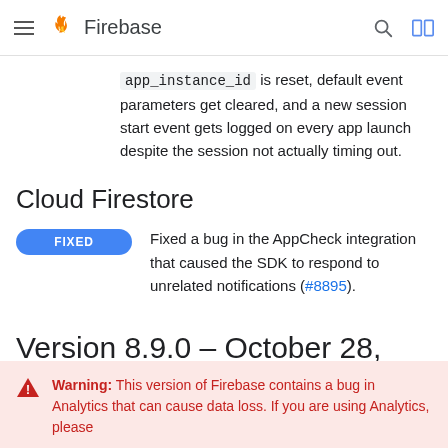Firebase
app_instance_id is reset, default event parameters get cleared, and a new session start event gets logged on every app launch despite the session not actually timing out.
Cloud Firestore
FIXED — Fixed a bug in the AppCheck integration that caused the SDK to respond to unrelated notifications (#8895).
Version 8.9.0 - October 28, 2021
Warning: This version of Firebase contains a bug in Analytics that can cause data loss. If you are using Analytics, please